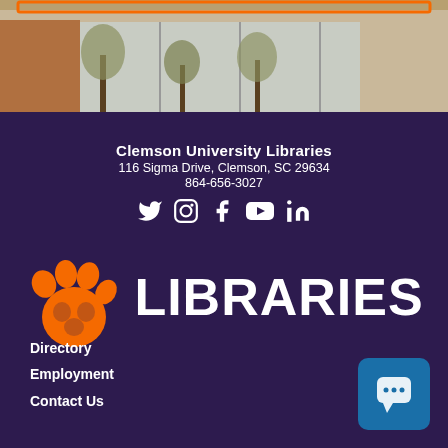[Figure (photo): Photo strip showing exterior building view with trees and windows, orange border at top]
Clemson University Libraries
116 Sigma Drive, Clemson, SC 29634
864-656-3027
[Figure (infographic): Social media icons: Twitter, Instagram, Facebook, YouTube, LinkedIn in white on dark purple background]
[Figure (logo): Clemson Libraries logo: orange tiger paw print with white LIBRARIES text on dark purple background]
Directory
Employment
Contact Us